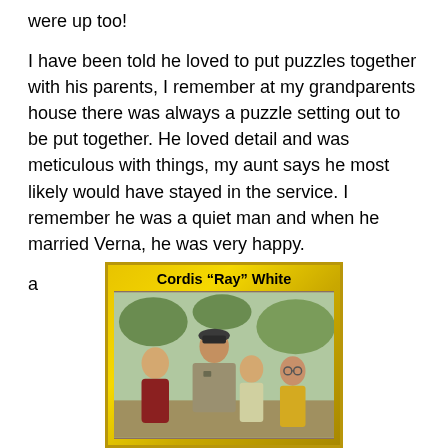were up too!
I have been told he loved to put puzzles together with his parents, I remember at my grandparents house there was always a puzzle setting out to be put together. He loved detail and was meticulous with things, my aunt says he most likely would have stayed in the service. I remember he was a quiet man and when he married Verna, he was very happy.
a
[Figure (photo): A family group photo showing four people standing together outdoors. A man in military uniform and cap stands in the center with three others around him. Framed with a gold/yellow decorative border. Caption reads: Cordis "Ray" White]